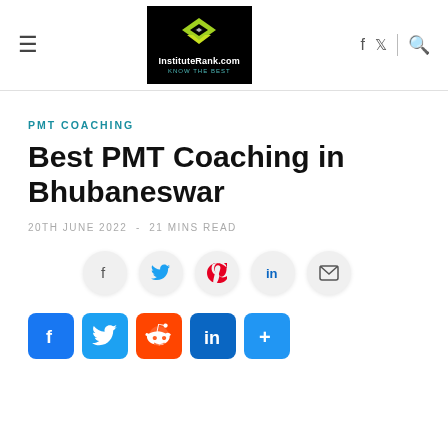InstituteRank.com — navigation header with logo, hamburger menu, and social/search icons
PMT COACHING
Best PMT Coaching in Bhubaneswar
20TH JUNE 2022 - 21 MINS READ
[Figure (other): Social share buttons in circle style: Facebook, Twitter, Pinterest, LinkedIn, Email]
[Figure (other): Social share square buttons: Facebook, Twitter, Reddit, LinkedIn, More]